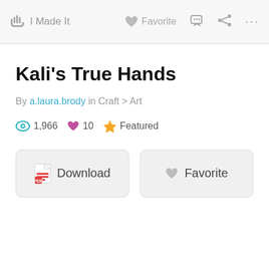I Made It | Favorite ...
Kali's True Hands
By a.laura.brody in Craft > Art
1,966 views  10 favorites  Featured
Download  Favorite